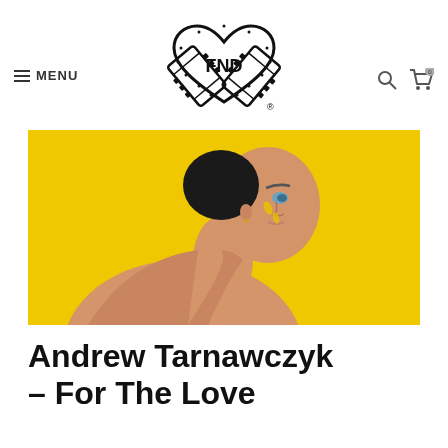[Figure (logo): FND film strip heart logo with registered trademark symbol]
≡ MENU
[Figure (other): Search icon and shopping cart icon with badge showing 0]
[Figure (photo): Portrait photo of a person looking over their shoulder against a bright yellow background, with small yellow paint marks on their face]
Andrew Tarnawczyk – For The Love